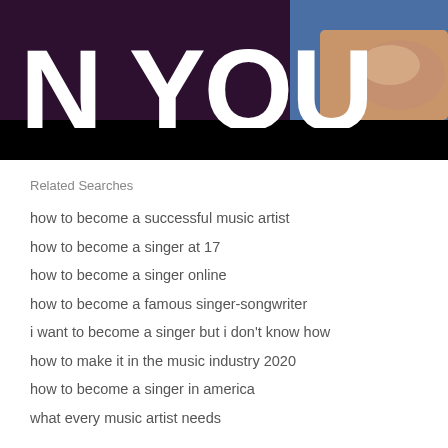[Figure (screenshot): Video thumbnail showing large white text 'N YOU' overlaid on a dark background with a man in a blue shirt with his hands clasped, looking at the camera.]
Related Searches
how to become a successful music artist
how to become a singer at 17
how to become a singer online
how to become a famous singer-songwriter
i want to become a singer but i don't know how
how to make it in the music industry 2020
how to become a singer in america
what every music artist needs